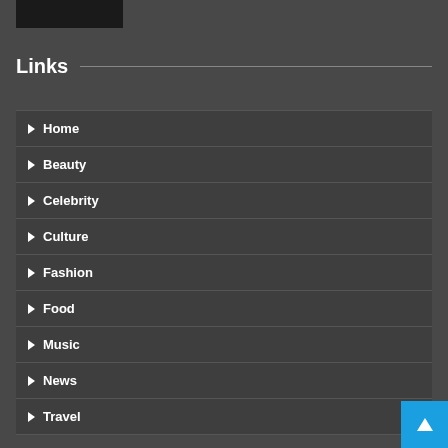[Figure (photo): Dark rectangular image in top left corner]
Links
Home
Beauty
Celebrity
Culture
Fashion
Food
Music
News
Travel